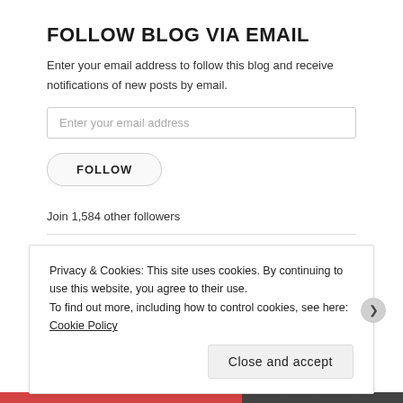FOLLOW BLOG VIA EMAIL
Enter your email address to follow this blog and receive notifications of new posts by email.
Enter your email address
FOLLOW
Join 1,584 other followers
RECENT COMMENTS
Privacy & Cookies: This site uses cookies. By continuing to use this website, you agree to their use.
To find out more, including how to control cookies, see here: Cookie Policy
Close and accept